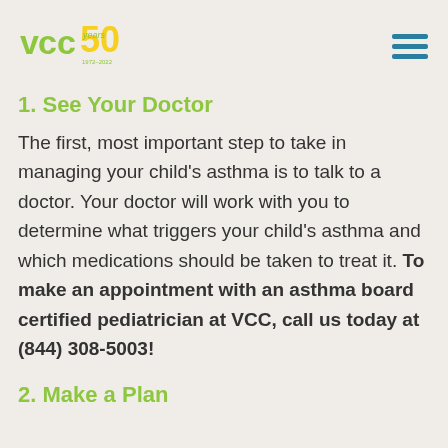VCC 50 Years logo and hamburger menu
1. See Your Doctor
The first, most important step to take in managing your child’s asthma is to talk to a doctor. Your doctor will work with you to determine what triggers your child’s asthma and which medications should be taken to treat it. To make an appointment with an asthma board certified pediatrician at VCC, call us today at (844) 308-5003!
2. Make a Plan